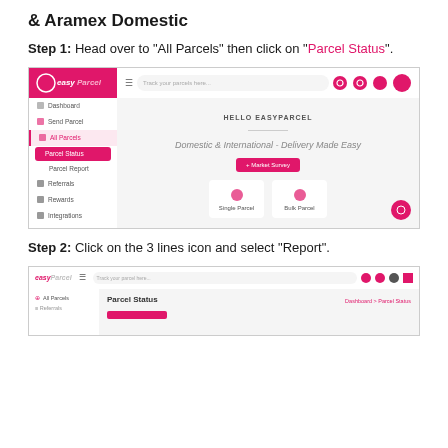& Aramex Domestic
Step 1: Head over to "All Parcels" then click on "Parcel Status".
[Figure (screenshot): Screenshot of EasyParcel dashboard showing the sidebar with 'All Parcels' selected and 'Parcel Status' highlighted in pink, and the main content area showing 'HELLO EASYPARCEL - Domestic & International - Delivery Made Easy' with Single Parcel and Bulk Parcel options.]
Step 2: Click on the 3 lines icon and select "Report".
[Figure (screenshot): Screenshot of EasyParcel Parcel Status page showing the top navigation bar, breadcrumb 'Dashboard > Parcel Status', and a pink highlighted bar below the header.]